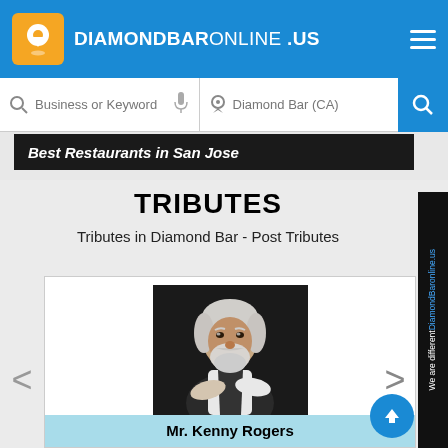DIAMONDBARONLINE.US
Business or Keyword | Diamond Bar (CA)
Best Restaurants in San Jose
TRIBUTES
Tributes in Diamond Bar - Post Tributes
[Figure (photo): Portrait photo of Mr. Kenny Rogers, an older man with white hair and beard, wearing a white shirt and dark vest, arms crossed]
Mr. Kenny Rogers